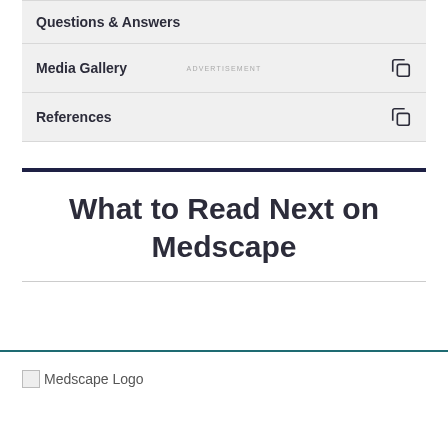Questions & Answers
Media Gallery
References
What to Read Next on Medscape
[Figure (logo): Medscape Logo placeholder image]
Medscape Logo